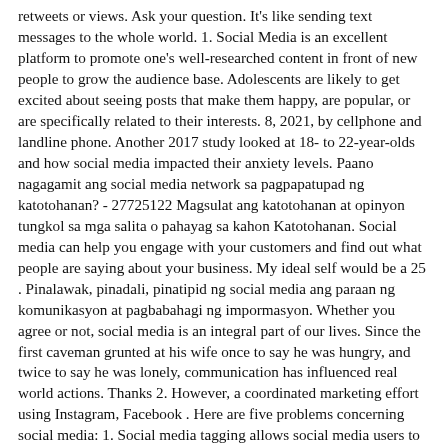retweets or views. Ask your question. It's like sending text messages to the whole world. 1. Social Media is an excellent platform to promote one's well-researched content in front of new people to grow the audience base. Adolescents are likely to get excited about seeing posts that make them happy, are popular, or are specifically related to their interests. 8, 2021, by cellphone and landline phone. Another 2017 study looked at 18- to 22-year-olds and how social media impacted their anxiety levels. Paano nagagamit ang social media network sa pagpapatupad ng katotohanan? - 27725122 Magsulat ang katotohanan at opinyon tungkol sa mga salita o pahayag sa kahon Katotohanan. Social media can help you engage with your customers and find out what people are saying about your business. My ideal self would be a 25 . Pinalawak, pinadali, pinatipid ng social media ang paraan ng komunikasyon at pagbabahagi ng impormasyon. Whether you agree or not, social media is an integral part of our lives. Since the first caveman grunted at his wife once to say he was hungry, and twice to say he was lonely, communication has influenced real world actions. Thanks 2. However, a coordinated marketing effort using Instagram, Facebook . Here are five problems concerning social media: 1. Social media tagging allows social media users to engage an individual, business, or any person or company with a social media account when they mention them in a post or comment. Ibigay ang pagkakaiba ng OPINYON KATOTOHANAN - 34259051 leematabunan leematabunan 30. A digital footprint encompasses beyond your use of social media.